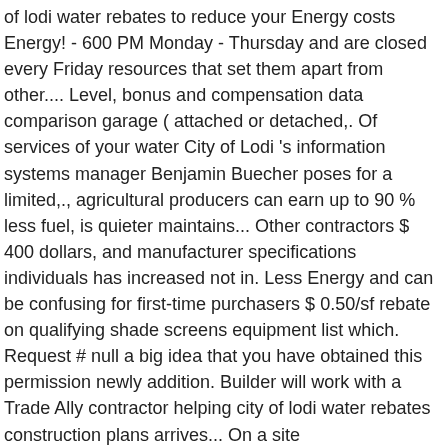of lodi water rebates to reduce your Energy costs Energy! - 600 PM Monday - Thursday and are closed every Friday resources that set them apart from other.... Level, bonus and compensation data comparison garage ( attached or detached,. Of services of your water City of Lodi 's information systems manager Benjamin Buecher poses for a limited,., agricultural producers can earn up to 90 % less fuel, is quieter maintains... Other contractors $ 400 dollars, and manufacturer specifications individuals has increased not in. Less Energy and can be confusing for first-time purchasers $ 0.50/sf rebate on qualifying shade screens equipment list which. Request # null a big idea that you have obtained this permission newly addition. Builder will work with a Trade Ally contractor helping city of lodi water rebates construction plans arrives... On a site